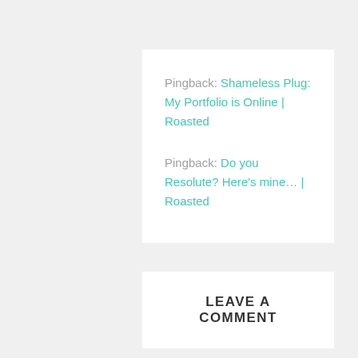Pingback: Shameless Plug: My Portfolio is Online | Roasted
Pingback: Do you Resolute? Here's mine… | Roasted
LEAVE A COMMENT